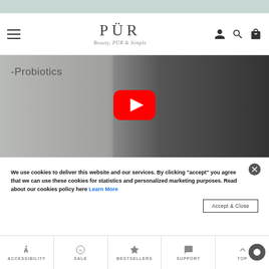[Figure (screenshot): Teal/sage colored top banner strip]
PÜR – Beauty, PÜR & Simple – Navigation bar with hamburger menu, logo, and icons
[Figure (screenshot): YouTube video thumbnail showing a woman in a black dress holding a product, with text '-Probiotics' and a red YouTube play button overlay]
We use cookies to deliver this website and our services. By clicking "accept" you agree that we can use these cookies for statistics and personalized marketing purposes. Read about our cookies policy here Learn More
ACCESSIBILITY | SALE | BESTSELLERS | SUPPORT | TOP